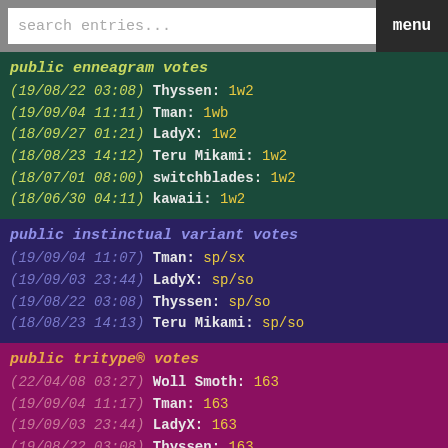search entries... menu
public enneagram votes
(19/08/22 03:08) Thyssen: 1w2
(19/09/04 11:11) Tman: 1wb
(18/09/27 01:21) LadyX: 1w2
(18/08/23 14:12) Teru Mikami: 1w2
(18/07/01 08:00) switchblades: 1w2
(18/06/30 04:11) kawaii: 1w2
public instinctual variant votes
(19/09/04 11:07) Tman: sp/sx
(19/09/03 23:44) LadyX: sp/so
(19/08/22 03:08) Thyssen: sp/so
(18/08/23 14:13) Teru Mikami: sp/so
public tritype® votes
(22/04/08 03:27) Woll Smoth: 163
(19/09/04 11:17) Tman: 163
(19/09/03 23:44) LadyX: 163
(19/08/22 03:08) Thyssen: 163
public sociotype votes
(22/04/08 03:27) Woll Smoth: LSI